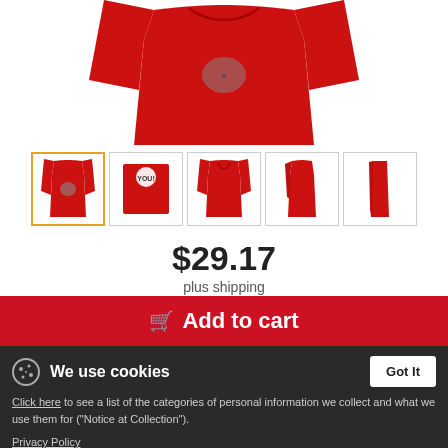[Figure (photo): Red long-sleeve shirt product image, front view, displayed large at top of page]
[Figure (photo): Row of 5 product thumbnail images: selected red long-sleeve with graphic, graphic close-up with Santa, plain red long-sleeve front, red long-sleeve side/back, red folded garment]
$29.17
plus shipping
Add to cart
We use cookies
Got It
Click here to see a list of the categories of personal information we collect and what we use them for ("Notice at Collection").
Privacy Policy
Do Not Sell My Personal Information
By using this website, I agree to the Terms and Conditions